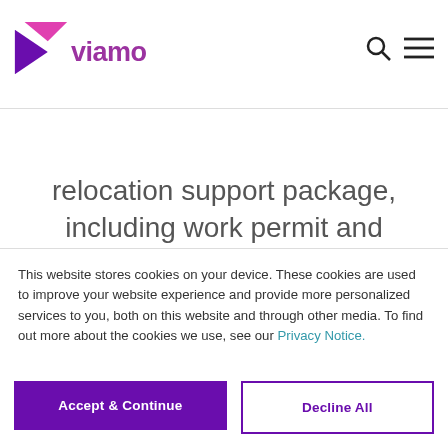viamo
headquarters in Saskatoon
viamo offers a comprehensive
relocation support package,
including work permit and
This website stores cookies on your device. These cookies are used to improve your website experience and provide more personalized services to you, both on this website and through other media. To find out more about the cookies we use, see our Privacy Notice.
We won't track your information when you visit our site if you decline. But in order to comply with your preferences, we'll have to use a cookie so that you're not asked to make this choice again. You can always change your cookie preferences by clicking on a Cookie Settings button in the footer.
Accept & Continue
Decline All